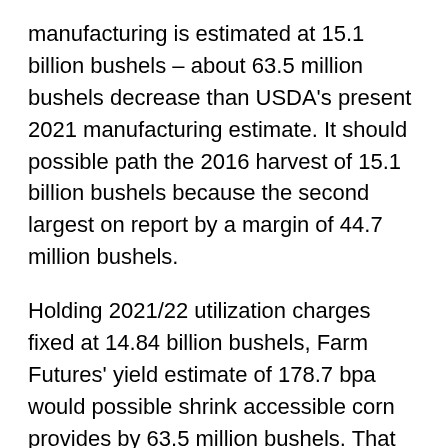manufacturing is estimated at 15.1 billion bushels – about 63.5 million bushels decrease than USDA's present 2021 manufacturing estimate. It should possible path the 2016 harvest of 15.1 billion bushels because the second largest on report by a margin of 44.7 million bushels.
Holding 2021/22 utilization charges fixed at 14.84 billion bushels, Farm Futures' yield estimate of 178.7 bpa would possible shrink accessible corn provides by 63.5 million bushels. That would depart ending shares at 1.37 billion bushels, shrinking USDA's present shares to make use of ratio for 2021/22 from 9.6% to 9.2%.
Corn shares are anticipated to shrink to the second tightest degree in the final 60 years by the point the 2020/21 advertising yr ends on the finish of this month, a results of aggressive 2020/21 exports and two earlier years of crop